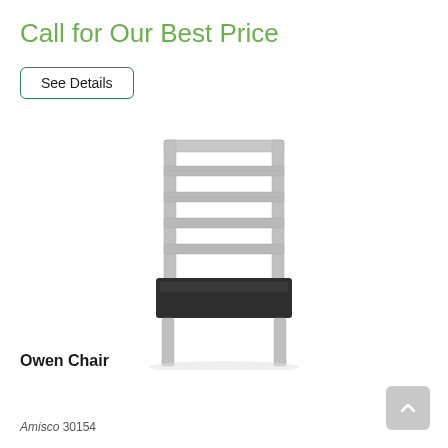Call for Our Best Price
See Details
[Figure (photo): A ladder-back dining chair with white/light grey wooden frame and dark charcoal upholstered seat, photographed on a white background.]
Owen Chair
Amisco 30154